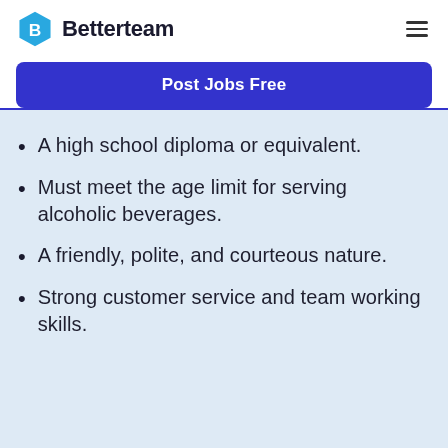Betterteam
Post Jobs Free
A high school diploma or equivalent.
Must meet the age limit for serving alcoholic beverages.
A friendly, polite, and courteous nature.
Strong customer service and team working skills.